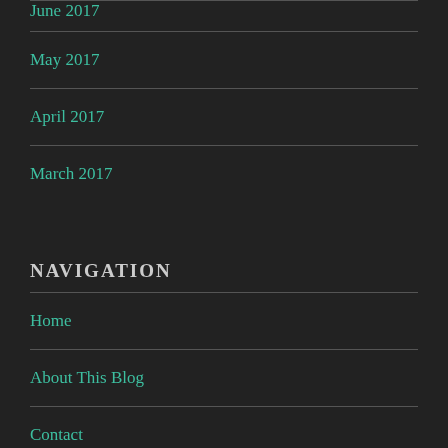June 2017
May 2017
April 2017
March 2017
NAVIGATION
Home
About This Blog
Contact